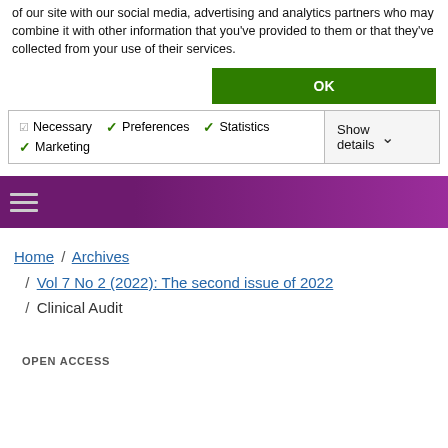of our site with our social media, advertising and analytics partners who may combine it with other information that you've provided to them or that they've collected from your use of their services.
OK
Necessary  Preferences  Statistics  Marketing  Show details
[Figure (screenshot): Purple navigation bar with hamburger menu icon]
Home / Archives / Vol 7 No 2 (2022): The second issue of 2022 / Clinical Audit
OPEN ACCESS